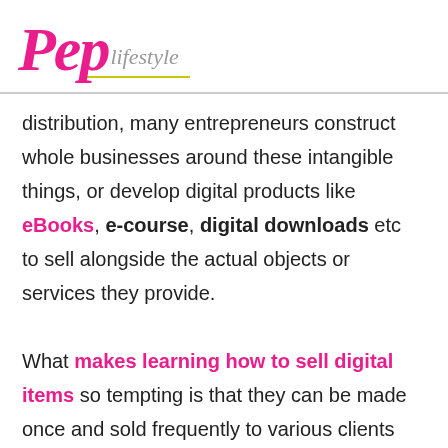[Figure (logo): Pep Lifestyle logo with pink italic bold 'Pep' and grey italic 'lifestyle' script text, with a yellow-green underline accent]
distribution, many entrepreneurs construct whole businesses around these intangible things, or develop digital products like eBooks, e-course, digital downloads etc to sell alongside the actual objects or services they provide.

What makes learning how to sell digital items so tempting is that they can be made once and sold frequently to various clients without requiring inventory replenishment,